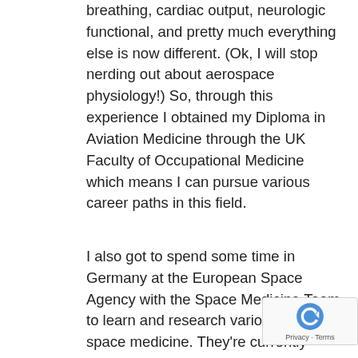breathing, cardiac output, neurologic functional, and pretty much everything else is now different. (Ok, I will stop nerding out about aerospace physiology!) So, through this experience I obtained my Diploma in Aviation Medicine through the UK Faculty of Occupational Medicine which means I can pursue various career paths in this field.
I also got to spend some time in Germany at the European Space Agency with the Space Medicine Team to learn and research various areas in space medicine. They're currently looking into planning for a deepspace flight mission back to the moon and to other celestial bodies like Mars. This means designing countermeasures to space radiation and adapting to the changes that our bodies undergo in microgravity. ESA also opera... current active missions on the International Space...